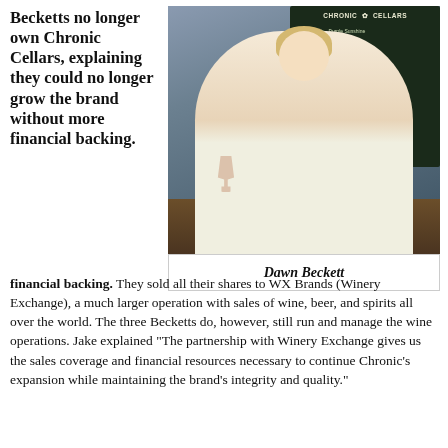Becketts no longer own Chronic Cellars, explaining they could no longer grow the brand without more financial backing.
[Figure (photo): Photo of Dawn Beckett, a blonde woman in a white blouse, leaning on a bar counter holding a glass of wine. Behind her is a chalkboard sign reading 'Chronic Cellars' with wine names written on it.]
Dawn Beckett
financial backing. They sold all their shares to WX Brands (Winery Exchange), a much larger operation with sales of wine, beer, and spirits all over the world. The three Becketts do, however, still run and manage the wine operations. Jake explained "The partnership with Winery Exchange gives us the sales coverage and financial resources necessary to continue Chronic's expansion while maintaining the brand's integrity and quality."